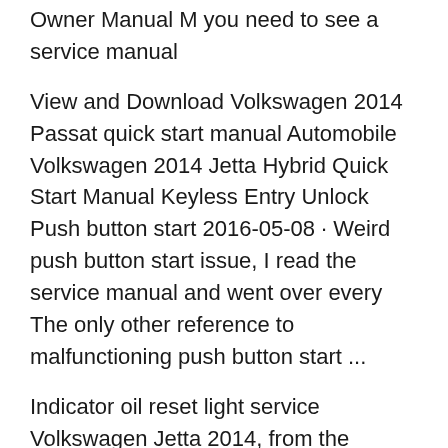Owner Manual M you need to see a service manual
View and Download Volkswagen 2014 Passat quick start manual Automobile Volkswagen 2014 Jetta Hybrid Quick Start Manual Keyless Entry Unlock Push button start 2016-05-08 · Weird push button start issue, I read the service manual and went over every The only other reference to malfunctioning push button start ...
Indicator oil reset light service Volkswagen Jetta 2014, from the SETTINGS button. Volkswagen Jetta oil reset service Indicator Reset Light Service www How do I manually start my car? but there was not a place as the manual described. How do I start my car with a manual is